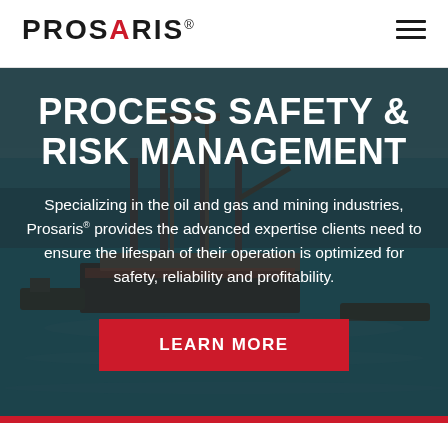PROSARIS®
[Figure (photo): Offshore oil platform/drilling rig in open water with support vessels, aerial view, dark teal sea]
PROCESS SAFETY & RISK MANAGEMENT
Specializing in the oil and gas and mining industries, Prosaris® provides the advanced expertise clients need to ensure the lifespan of their operation is optimized for safety, reliability and profitability.
LEARN MORE